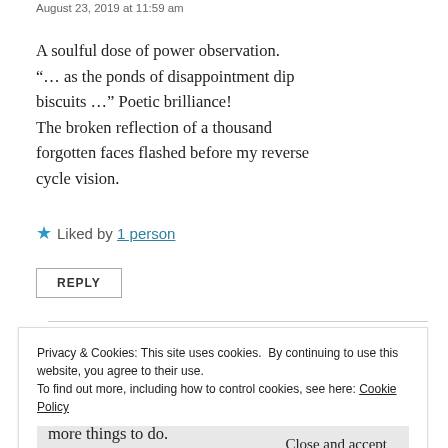August 23, 2019 at 11:59 am
A soulful dose of power observation.
“… as the ponds of disappointment dip biscuits …” Poetic brilliance!
The broken reflection of a thousand forgotten faces flashed before my reverse cycle vision.
★ Liked by 1 person
REPLY
Privacy & Cookies: This site uses cookies. By continuing to use this website, you agree to their use.
To find out more, including how to control cookies, see here: Cookie Policy
Close and accept
more things to do.